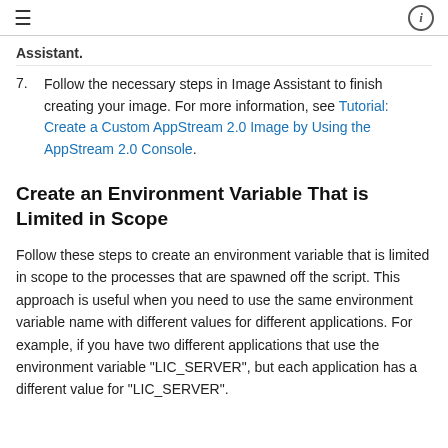≡  ℹ
Assistant.
7. Follow the necessary steps in Image Assistant to finish creating your image. For more information, see Tutorial: Create a Custom AppStream 2.0 Image by Using the AppStream 2.0 Console.
Create an Environment Variable That is Limited in Scope
Follow these steps to create an environment variable that is limited in scope to the processes that are spawned off the script. This approach is useful when you need to use the same environment variable name with different values for different applications. For example, if you have two different applications that use the environment variable "LIC_SERVER", but each application has a different value for "LIC_SERVER".